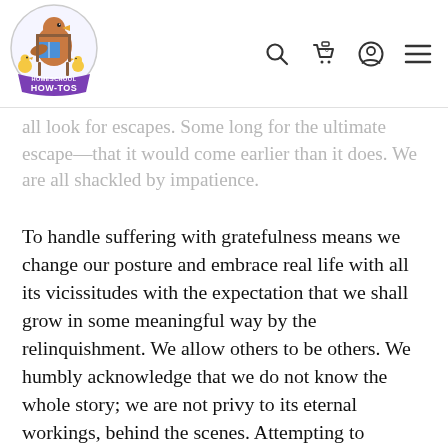[Figure (logo): Homeschool How-Tos logo — cartoon duck/bird reading a book seated in a chair with chicks, purple banner below reading HOW-TOS, inside a circle]
all look for escapes. Some long for the ultimate escape—that it would come earlier than it does. We are all shackled by impatience.
To handle suffering with gratefulness means we change our posture and embrace real life with all its vicissitudes with the expectation that we shall grow in some meaningful way by the relinquishment. We allow others to be others. We humbly acknowledge that we do not know the whole story; we are not privy to its eternal workings, behind the scenes. Attempting to "command" the length and the amount of the suffering becomes meaningless.